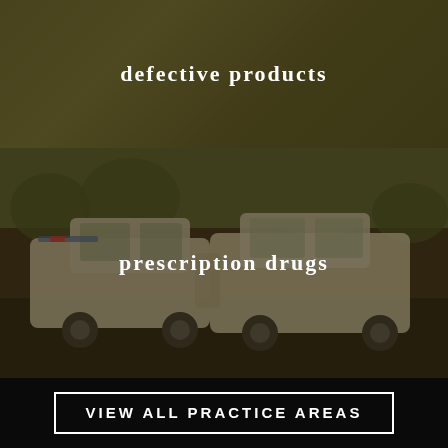defective products
[Figure (photo): Car accident scene with two vehicles, overlaid with a dark brownish semi-transparent layer]
prescription drugs
VIEW ALL PRACTICE AREAS
Request Your Free